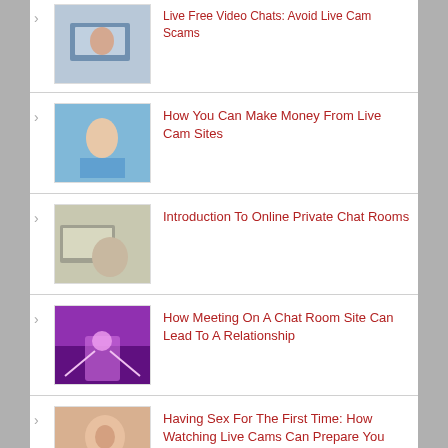Live Free Video Chats: Avoid Live Cam Scams
How You Can Make Money From Live Cam Sites
Introduction To Online Private Chat Rooms
How Meeting On A Chat Room Site Can Lead To A Relationship
Having Sex For The First Time: How Watching Live Cams Can Prepare You
How Using A Webcam Site Can Ruin Your Relationship